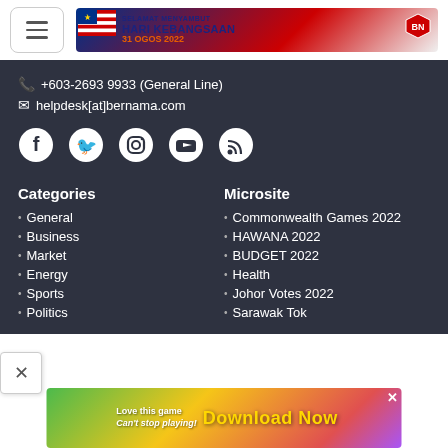[Figure (screenshot): Header with hamburger menu button and Selamat Menyambut Hari Kebangsaan 31 Ogos 2022 banner with Malaysian flag]
+603-2693 9933 (General Line)
helpdesk[at]bernama.com
[Figure (illustration): Social media icons: Facebook, Twitter, Instagram, YouTube, RSS]
Categories
Microsite
General
Commonwealth Games 2022
Business
HAWANA 2022
Market
BUDGET 2022
Energy
Health
Sports
Johor Votes 2022
Politics
Sarawak Tok
[Figure (illustration): Advertisement banner: Love this game Can't stop playing! Download Now - Bubble Shooter Animal World]